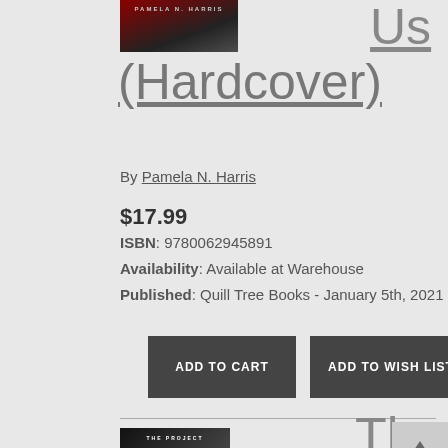[Figure (photo): Book cover thumbnail at top, partially visible, dark with red accents, author name Pamela N. Harris visible]
Us (Hardcover)
By Pamela N. Harris
$17.99
ISBN: 9780062945891
Availability: Available at Warehouse
Published: Quill Tree Books - January 5th, 2021
ADD TO CART
ADD TO WISH LIST
[Figure (photo): Book cover for The Project, dark background with red accents, title THE PROJECT visible]
The Project: A